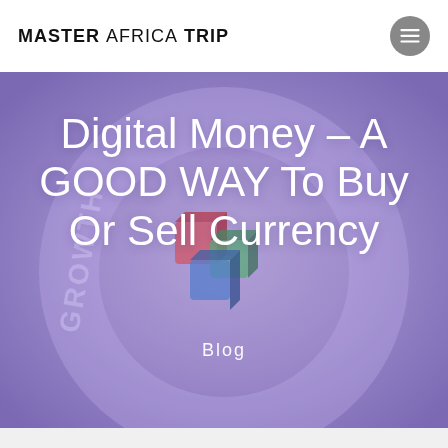MASTER AFRICA TRIP
[Figure (illustration): Hero banner image with purple/blue toned background showing business-themed 3D block letters spelling GROWTH and BUSINESS in a circular arrangement, with colorful geometric shapes in the center.]
Digital Money – A GOOD WAY To Buy Or Sell Currency
Blog